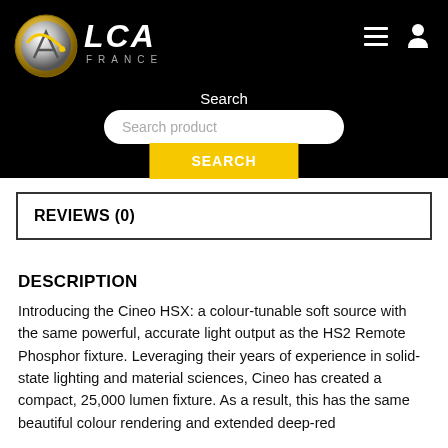[Figure (logo): LCA France logo with gold/silver circular emblem on black background, with hamburger menu and user icon on the right]
Search
Search product
SEARCH
REVIEWS (0)
DESCRIPTION
Introducing the Cineo HSX: a colour-tunable soft source with the same powerful, accurate light output as the HS2 Remote Phosphor fixture. Leveraging their years of experience in solid-state lighting and material sciences, Cineo has created a compact, 25,000 lumen fixture. As a result, this has the same beautiful colour rendering and extended deep-red